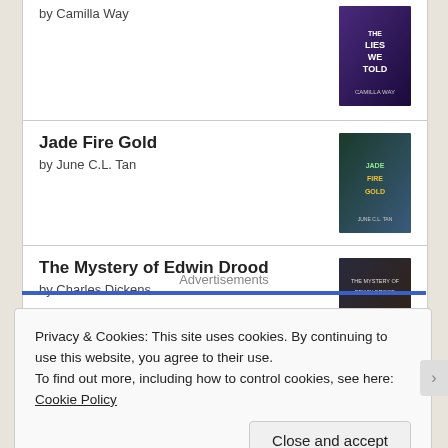by Camilla Way
Jade Fire Gold
by June C.L. Tan
The Mystery of Edwin Drood
by Charles Dickens
[Figure (logo): goodreads button/logo with rounded rectangle border]
Advertisements
Privacy & Cookies: This site uses cookies. By continuing to use this website, you agree to their use.
To find out more, including how to control cookies, see here: Cookie Policy
Close and accept